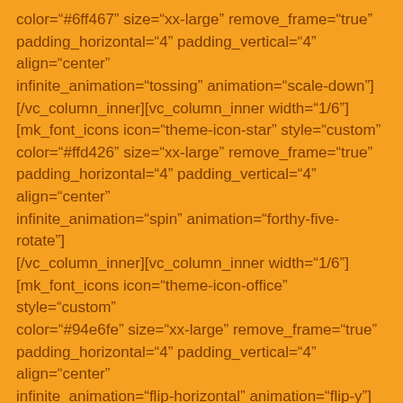color="#6ff467" size="xx-large" remove_frame="true" padding_horizontal="4" padding_vertical="4" align="center" infinite_animation="tossing" animation="scale-down"] [/vc_column_inner][vc_column_inner width="1/6"] [mk_font_icons icon="theme-icon-star" style="custom" color="#ffd426" size="xx-large" remove_frame="true" padding_horizontal="4" padding_vertical="4" align="center" infinite_animation="spin" animation="forthy-five-rotate"] [/vc_column_inner][vc_column_inner width="1/6"] [mk_font_icons icon="theme-icon-office" style="custom" color="#94e6fe" size="xx-large" remove_frame="true" padding_horizontal="4" padding_vertical="4" align="center" infinite_animation="flip-horizontal" animation="flip-y"] [/vc_column_inner][vc_column_inner width="1/6"] [mk_font_icons icon="theme-icon-next-bigger" style="custom" color="#444444" size="xx-large" remove_frame="true" padding_horizontal="4" padding_vertical="4" align="center" infinite_animation="float-horizontal" animation="left-to-